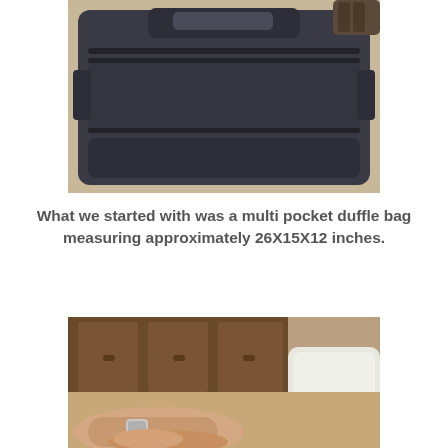[Figure (photo): Top-down view of a dark navy/grey multi-pocket duffle bag with a brand label, placed on a light beige surface]
What we started with was a multi pocket duffle bag measuring approximately 26X15X12 inches.
[Figure (photo): Person's hands on a bed with wooden headboard and white pillow in background]